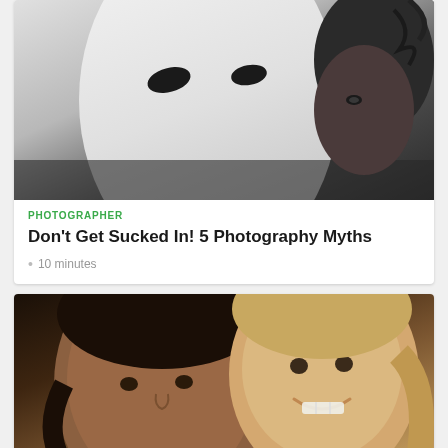[Figure (photo): Black and white photo of a white theatrical mask with a woman's face partially visible behind it, dramatic lighting]
PHOTOGRAPHER
Don't Get Sucked In! 5 Photography Myths
10 minutes
[Figure (photo): Color close-up photo of a woman and a young smiling boy with light brown hair, warm tones]